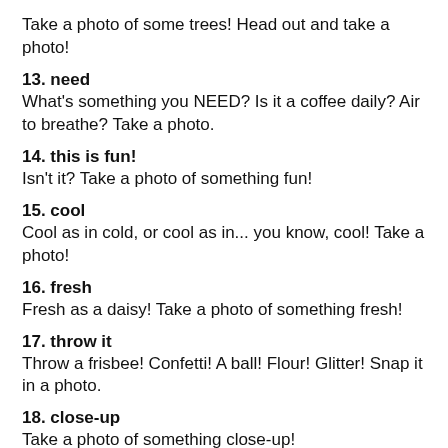Take a photo of some trees! Head out and take a photo!
13. need
What's something you NEED? Is it a coffee daily? Air to breathe? Take a photo.
14. this is fun!
Isn't it? Take a photo of something fun!
15. cool
Cool as in cold, or cool as in... you know, cool! Take a photo!
16. fresh
Fresh as a daisy! Take a photo of something fresh!
17. throw it
Throw a frisbee! Confetti! A ball! Flour! Glitter! Snap it in a photo.
18. close-up
Take a photo of something close-up!